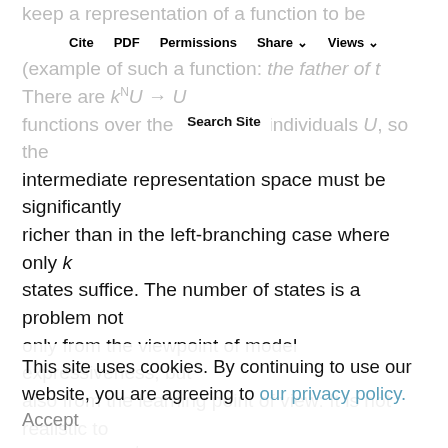keep a representation of a function to be applied to the individual whose name follows (example of such a function: the father of t… There are k^U → U functions over the domain of individuals U, so the intermediate representation space must be significantly richer than in the left-branching case where only k states suffice. The number of states is a problem not only from the viewpoint of model expressiveness, but also from the learning point of view: It is not realistic to observe all k^k functions at training time.
Cite  PDF  Permissions  Share  Views  Search Site
The brute force approach to left-to-right parsing or interpretation consists in keeping a stack of representations to be integrated at a later step, but in practice it is hard to learn to known to poor representationally to emulate stacks even if th…
This site uses cookies. By continuing to use our website, you are agreeing to our privacy policy. Accept